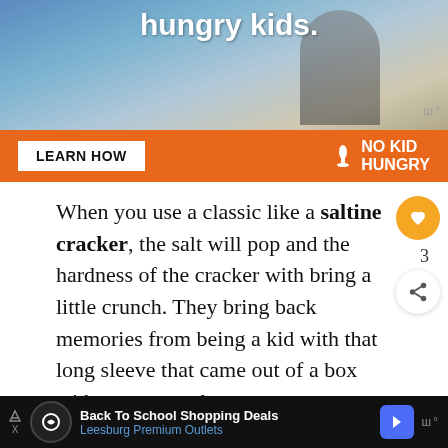[Figure (screenshot): Advertisement banner for No Kid Hungry. Top portion shows a photo of a child with text 'hungry kids.' visible. Orange bar below shows 'LEARN HOW' button and 'NO KID HUNGRY' logo in white.]
When you use a classic like a saltine cracker, the salt will pop and the hardness of the cracker with bring a little crunch. They bring back memories from being a kid with that long sleeve that came out of a box with square crackers.
Believe it or not oyster crackers are not j for a chowder they also go great in chicken
[Figure (screenshot): Bottom advertisement bar for Leesburg Premium Outlets Back To School Shopping Deals]